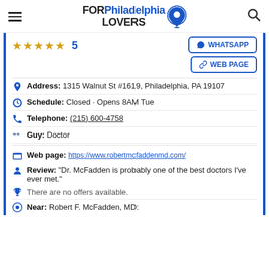FOR Philadelphia LOVERS
★★★★★  5  WHATSAPP  WEB PAGE
Address: 1315 Walnut St #1619, Philadelphia, PA 19107
Schedule: Closed · Opens 8AM Tue
Telephone: (215) 600-4758
Guy: Doctor
Web page: https://www.robertmcfaddenmd.com/
Review: "Dr. McFadden is probably one of the best doctors I've ever met."
There are no offers available.
Near: Robert F. McFadden, MD: